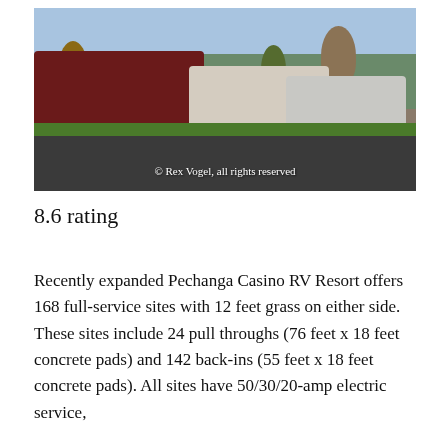[Figure (photo): RV resort parking area with multiple RVs and motor homes parked in a row beside a paved road, trees with autumn foliage in background, green grass strips between sites. Photo watermark reads: © Rex Vogel, all rights reserved]
8.6 rating
Recently expanded Pechanga Casino RV Resort offers 168 full-service sites with 12 feet grass on either side. These sites include 24 pull throughs (76 feet x 18 feet concrete pads) and 142 back-ins (55 feet x 18 feet concrete pads). All sites have 50/30/20-amp electric service,